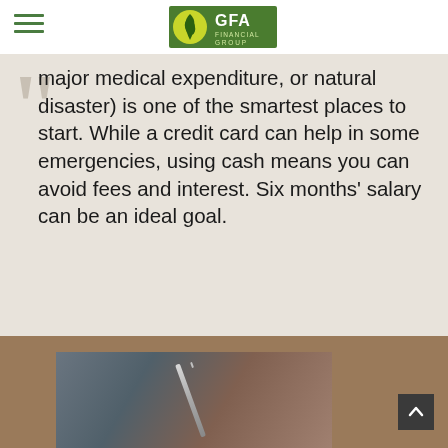GFA Financial Group
major medical expenditure, or natural disaster) is one of the smartest places to start. While a credit card can help in some emergencies, using cash means you can avoid fees and interest. Six months’ salary can be an ideal goal.
[Figure (photo): Photograph of a person writing with a pen/pencil, shown against a warm brown background with a blurred close-up view]